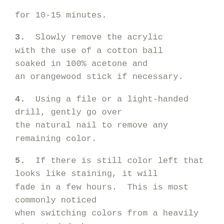for 10-15 minutes.
3. Slowly remove the acrylic with the use of a cotton ball soaked in 100% acetone and an orangewood stick if necessary.
4. Using a file or a light-handed drill, gently go over the natural nail to remove any remaining color.
5. If there is still color left that looks like staining, it will fade in a few hours.  This is most commonly noticed when switching colors from a heavily pigmented dark colored powder to one that is much lighter.
If your customer wants to frequently switch their colored acrylics, you may want to recommend a